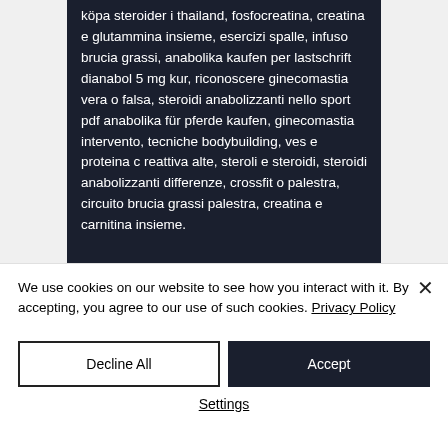köpa steroider i thailand, fosfocreatina, creatina e glutammina insieme, esercizi spalle, infuso brucia grassi, anabolika kaufen per lastschrift dianabol 5 mg kur, riconoscere ginecomastia vera o falsa, steroidi anabolizzanti nello sport pdf anabolika für pferde kaufen, ginecomastia intervento, tecniche bodybuilding, ves e proteina c reattiva alte, steroli e steroidi, steroidi anabolizzanti differenze, crossfit o palestra, circuito brucia grassi palestra, creatina e carnitina insieme.
We use cookies on our website to see how you interact with it. By accepting, you agree to our use of such cookies. Privacy Policy
Decline All
Accept
Settings